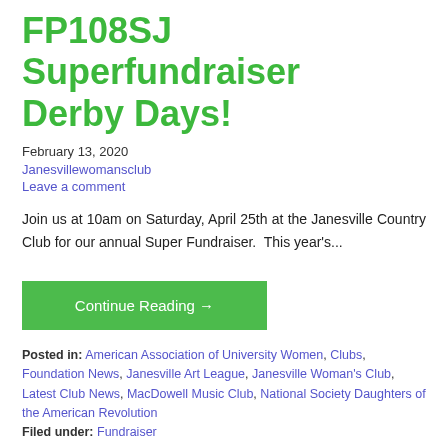FP108SJ Superfundraiser Derby Days!
February 13, 2020
Janesvillewomansclub
Leave a comment
Join us at 10am on Saturday, April 25th at the Janesville Country Club for our annual Super Fundraiser.  This year's...
Continue Reading →
Posted in: American Association of University Women, Clubs, Foundation News, Janesville Art League, Janesville Woman's Club, Latest Club News, MacDowell Music Club, National Society Daughters of the American Revolution
Filed under: Fundraiser